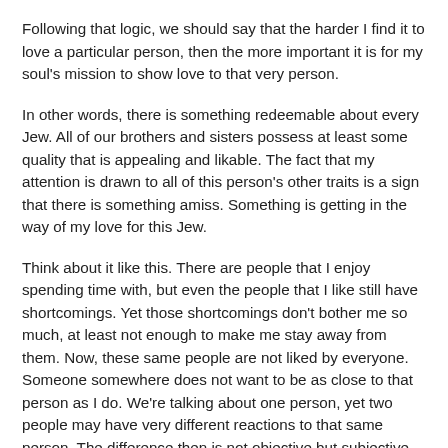Following that logic, we should say that the harder I find it to love a particular person, then the more important it is for my soul's mission to show love to that very person.
In other words, there is something redeemable about every Jew. All of our brothers and sisters possess at least some quality that is appealing and likable. The fact that my attention is drawn to all of this person's other traits is a sign that there is something amiss. Something is getting in the way of my love for this Jew.
Think about it like this. There are people that I enjoy spending time with, but even the people that I like still have shortcomings. Yet those shortcomings don't bother me so much, at least not enough to make me stay away from them. Now, these same people are not liked by everyone. Someone somewhere does not want to be as close to that person as I do. We're talking about one person, yet two people may have very different reactions to that same person. The difference then is not objective but subjective. And what is this subjective difference? The same difference that makes me